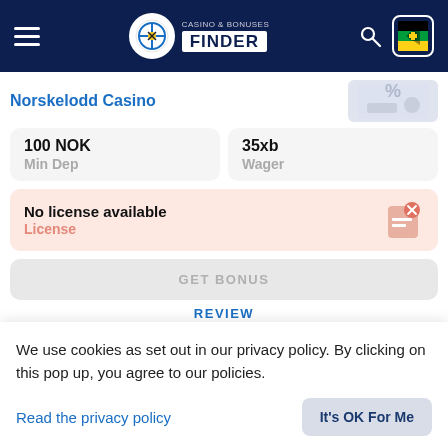Casino & Bonuses Finder
Norskelodd Casino
| Min Dep | Wager |
| --- | --- |
| 100 NOK | 35xb |
No license available
License
GET BONUS
REVIEW
Bonus Code
Not Required
We use cookies as set out in our privacy policy. By clicking on this pop up, you agree to our policies.
Read the privacy policy
It's OK For Me